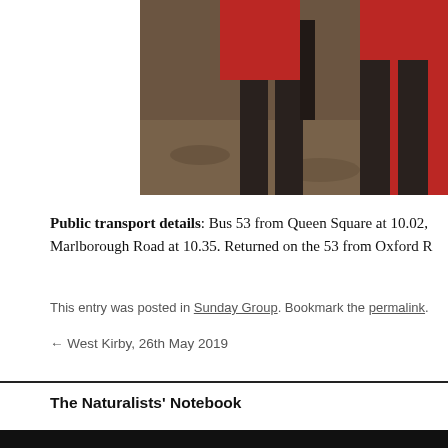[Figure (photo): Partial photograph showing a person in a red top and dark trousers standing outdoors on a muddy/rocky ground, cropped at the waist down.]
Public transport details: Bus 53 from Queen Square at 10.02, Marlborough Road at 10.35. Returned on the 53 from Oxford R
This entry was posted in Sunday Group. Bookmark the permalink.
← West Kirby, 26th May 2019
The Naturalists' Notebook